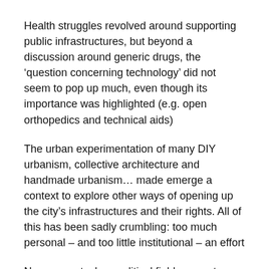Health struggles revolved around supporting public infrastructures, but beyond a discussion around generic drugs, the 'question concerning technology' did not seem to pop up much, even though its importance was highlighted (e.g. open orthopedics and technical aids)
The urban experimentation of many DIY urbanism, collective architecture and handmade urbanism… made emerge a context to explore other ways of opening up the city's infrastructures and their rights. All of this has been sadly crumbling: too much personal – and too little institutional – an effort
Now a new techno-political field seems to emerge, even more closed than the previous one: Will this situation of health infrastructural collapse allow for an experimentation with seizing the means of care, opening up an inquiry on how this might be supported by public infrastructures?